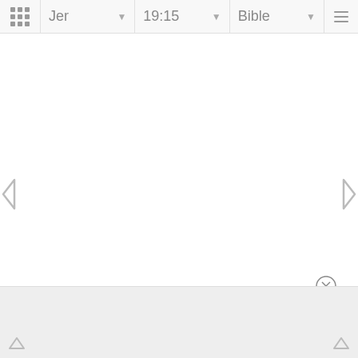Jer  19:15  Bible
[Figure (screenshot): Bible app interface showing navigation bar with book selector (Jer), chapter:verse selector (19:15), and Bible version selector, with left/right navigation arrows on a blank white content area, a close button, and a bottom panel with corner navigation arrows]